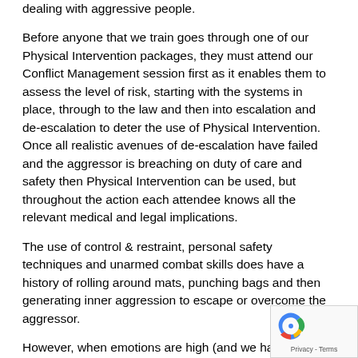dealing with aggressive people.
Before anyone that we train goes through one of our Physical Intervention packages, they must attend our Conflict Management session first as it enables them to assess the level of risk, starting with the systems in place, through to the law and then into escalation and de-escalation to deter the use of Physical Intervention. Once all realistic avenues of de-escalation have failed and the aggressor is breaching on duty of care and safety then Physical Intervention can be used, but throughout the action each attendee knows all the relevant medical and legal implications.
The use of control & restraint, personal safety techniques and unarmed combat skills does have a history of rolling around mats, punching bags and then generating inner aggression to escape or overcome the aggressor.
However, when emotions are high (and we have all encountered these situations) our judgement can be clouded by rage or shock, so when we approach the u Physical Intervention we have to determine that the pe using them understands the build-up, then also not using